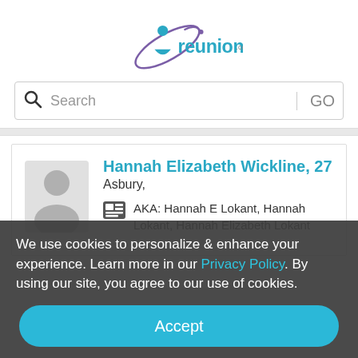[Figure (logo): reunion.com logo with stylized figure and orbit graphic in teal/blue/purple]
Search  GO
Hannah Elizabeth Wickline, 27
Asbury,
AKA: Hannah E Lokant, Hannah Lokant, Hannah Elizabeth Lokant
We use cookies to personalize & enhance your experience. Learn more in our Privacy Policy. By using our site, you agree to our use of cookies.
Accept
3448 Monroe Draft Caldwell, WV 24925